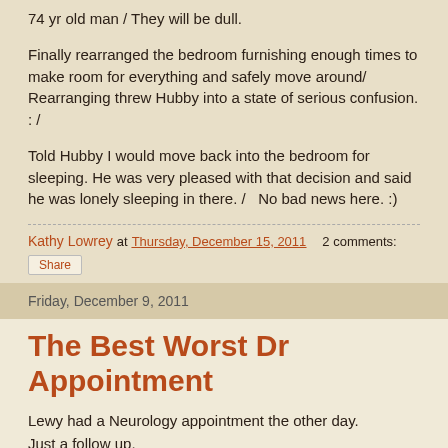74 yr old man / They will be dull.
Finally rearranged the bedroom furnishing enough times to make room for everything and safely move around/ Rearranging threw Hubby into a state of serious confusion. : /
Told Hubby I would move back into the bedroom for sleeping. He was very pleased with that decision and said he was lonely sleeping in there. /   No bad news here. :)
Kathy Lowrey at Thursday, December 15, 2011   2 comments:
Share
Friday, December 9, 2011
The Best Worst Dr Appointment
Lewy had a Neurology appointment the other day. Just a follow up.